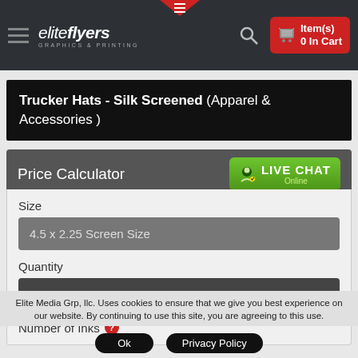[Figure (screenshot): Elite Flyers website header with hamburger menu, logo, search icon, and red cart button showing 0 items]
Trucker Hats - Silk Screened (Apparel & Accessories )
Price Calculator
[Figure (other): Live Chat Online green button]
Size
4.5 x 2.25 Screen Size
Quantity
72
Number of Inks
Elite Media Grp, llc. Uses cookies to ensure that we give you best experience on our website. By continuing to use this site, you are agreeing to this use.
Ok
Privacy Policy